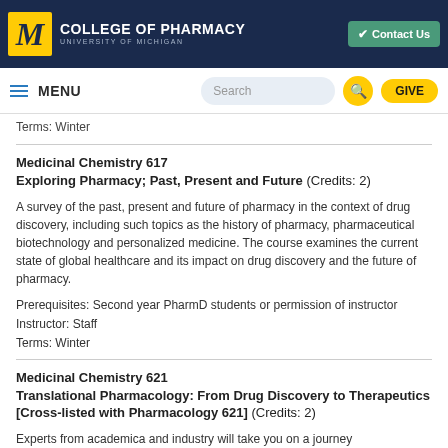College of Pharmacy, University of Michigan
Terms: Winter
Medicinal Chemistry 617
Exploring Pharmacy; Past, Present and Future (Credits: 2)
A survey of the past, present and future of pharmacy in the context of drug discovery, including such topics as the history of pharmacy, pharmaceutical biotechnology and personalized medicine. The course examines the current state of global healthcare and its impact on drug discovery and the future of pharmacy.
Prerequisites: Second year PharmD students or permission of instructor
Instructor: Staff
Terms: Winter
Medicinal Chemistry 621
Translational Pharmacology: From Drug Discovery to Therapeutics [Cross-listed with Pharmacology 621] (Credits: 2)
Experts from academica and industry will take you on a journey